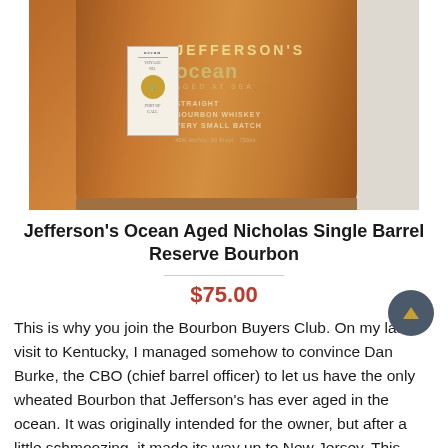[Figure (photo): Photo of a Jefferson's Ocean Aged at Sea Straight Bourbon Whiskey Very Small Batch bottle against a textured white wall background]
Jefferson's Ocean Aged Nicholas Single Barrel Reserve Bourbon
$75.00
This is why you join the Bourbon Buyers Club. On my last visit to Kentucky, I managed somehow to convince Dan Burke, the CBO (chief barrel officer) to let us have the only wheated Bourbon that Jefferson's has ever aged in the ocean. It was originally intended for the owner, but after a little schmoozing, it made its way up to New Jersey. This